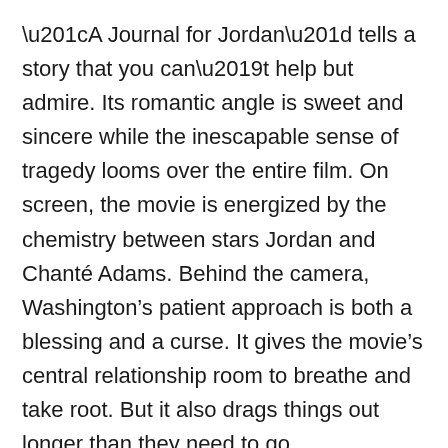“A Journal for Jordan” tells a story that you can’t help but admire. Its romantic angle is sweet and sincere while the inescapable sense of tragedy looms over the entire film. On screen, the movie is energized by the chemistry between stars Jordan and Chanté Adams. Behind the camera, Washington’s patient approach is both a blessing and a curse. It gives the movie’s central relationship room to breathe and take root. But it also drags things out longer than they need to go.
In a way “A Journal for Jordan” feels like a movie from another time. Most of today’s franchise-formed preferences have all the patience in the world for the latest big tent-pole blockbuster. But an old-fashioned straight-shooting melodrama (the kind audiences 30 years ago would gobble up no questions asked) is a hard sell these